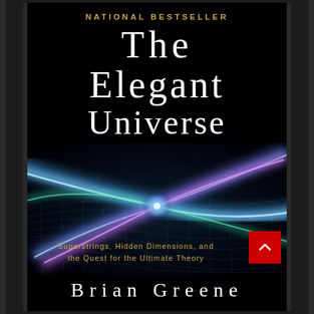NATIONAL BESTSELLER
The Elegant Universe
[Figure (illustration): Abstract artwork showing intersecting blue, purple, and teal light beams crossing a dark space with a grid/mesh-like surface in the background, representing superstrings and hidden dimensions]
Superstrings, Hidden Dimensions, and the Quest for the Ultimate Theory
Brian Greene